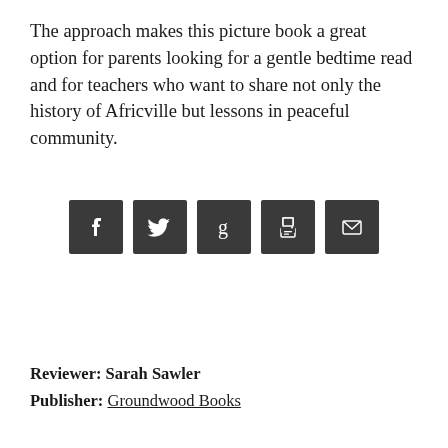The approach makes this picture book a great option for parents looking for a gentle bedtime read and for teachers who want to share not only the history of Africville but lessons in peaceful community.
[Figure (infographic): Row of five dark square social media sharing icons: Facebook (f), Twitter (bird), Goodreads (g), Print (printer), Email (envelope)]
Reviewer: Sarah Sawler
Publisher: Groundwood Books